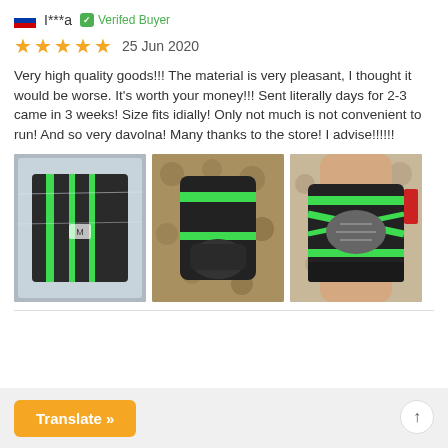I***a  Verified Buyer
★★★★★  25 Jun 2020
Very high quality goods!!! The material is very pleasant, I thought it would be worse. It's worth your money!!! Sent literally days for 2-3 came in 3 weeks! Size fits idially! Only not much is not convenient to run! And so very davolna! Many thanks to the store! I advise!!!!!!
[Figure (photo): Three photos of a black and green knee/ankle support brace: packaged in plastic, unpackaged, and worn on a leg.]
Translate »